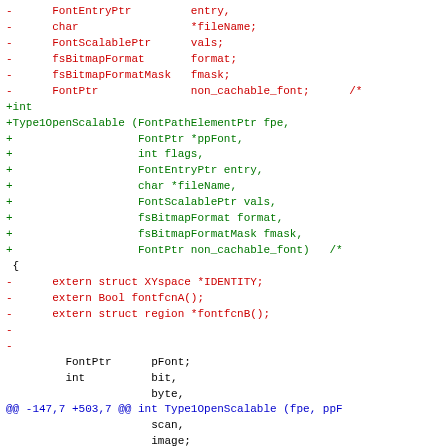[Figure (other): Diff/patch code fragment showing removal (red) and addition (green) of function signature lines and body contents for Type1OpenScalable, with context lines in black and a @@ hunk header in blue.]